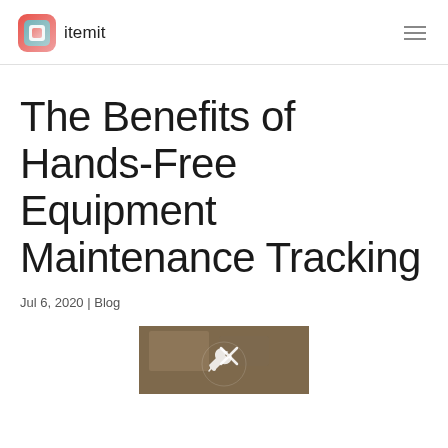itemit
The Benefits of Hands-Free Equipment Maintenance Tracking
Jul 6, 2020 | Blog
[Figure (photo): A photo showing maintenance tools with a wrench icon overlay on a wooden surface background]